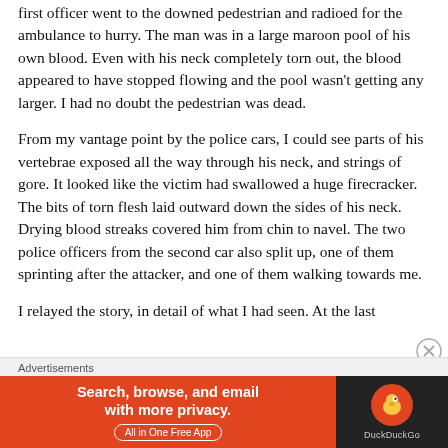first officer went to the downed pedestrian and radioed for the ambulance to hurry. The man was in a large maroon pool of his own blood. Even with his neck completely torn out, the blood appeared to have stopped flowing and the pool wasn't getting any larger. I had no doubt the pedestrian was dead.
From my vantage point by the police cars, I could see parts of his vertebrae exposed all the way through his neck, and strings of gore. It looked like the victim had swallowed a huge firecracker. The bits of torn flesh laid outward down the sides of his neck. Drying blood streaks covered him from chin to navel. The two police officers from the second car also split up, one of them sprinting after the attacker, and one of them walking towards me.
I relayed the story, in detail of what I had seen. At the last
Advertisements
[Figure (other): DuckDuckGo advertisement banner with orange left side reading 'Search, browse, and email with more privacy. All in One Free App' and dark right side with DuckDuckGo logo and brand name.]